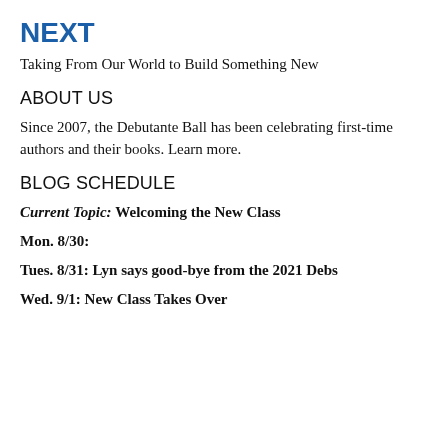NEXT
Taking From Our World to Build Something New
ABOUT US
Since 2007, the Debutante Ball has been celebrating first-time authors and their books. Learn more.
BLOG SCHEDULE
Current Topic: Welcoming the New Class
Mon. 8/30:
Tues. 8/31: Lyn says good-bye from the 2021 Debs
Wed. 9/1: New Class Takes Over